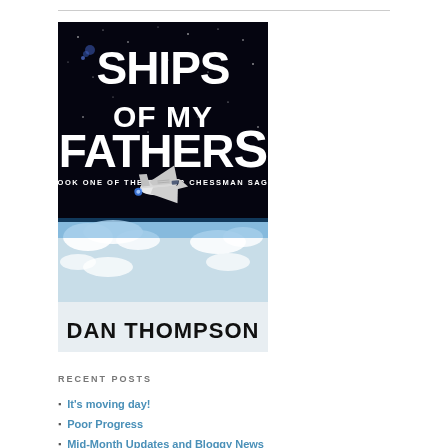[Figure (illustration): Book cover for 'Ships of My Fathers' by Dan Thompson, Book One of the Father Chessman Saga. Dark space background with stars and Earth's atmosphere. Large bold white text reads 'SHIPS OF MY FATHERS'. A space shuttle is depicted flying above clouds. Author name 'DAN THOMPSON' in large black bold text at bottom.]
RECENT POSTS
It's moving day!
Poor Progress
Mid-Month Updates and Bloggy News